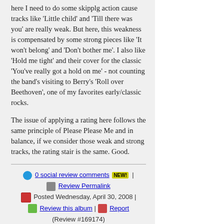here I need to do some skipplg action cause tracks like 'Little child' and 'Till there was you' are really weak. But here, this weakness is compensated by some strong pieces like 'It won't belong' and 'Don't bother me'. I also like 'Hold me tight' and their cover for the classic 'You've really got a hold on me' - not counting the band's visiting to Berry's 'Roll over Beethoven', one of my favorites early/classic rocks.

The issue of applying a rating here follows the same principle of Please Please Me and in balance, if we consider those weak and strong tracks, the rating stair is the same. Good.
0 social review comments NEW! | Review Permalink | Posted Wednesday, April 30, 2008 | Review this album | Report (Review #169174)